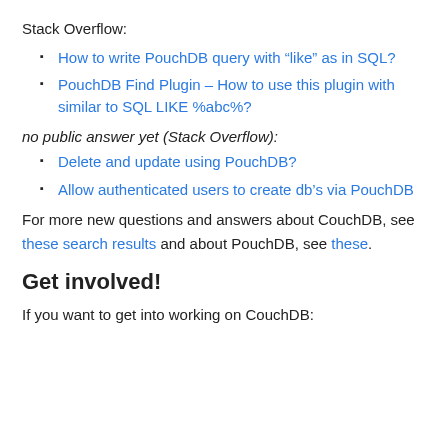Stack Overflow:
How to write PouchDB query with “like” as in SQL?
PouchDB Find Plugin – How to use this plugin with similar to SQL LIKE %abc%?
no public answer yet (Stack Overflow):
Delete and update using PouchDB?
Allow authenticated users to create db’s via PouchDB
For more new questions and answers about CouchDB, see these search results and about PouchDB, see these.
Get involved!
If you want to get into working on CouchDB: